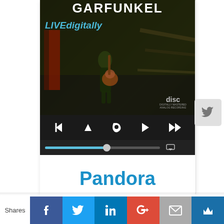[Figure (screenshot): Pandora app screenshot showing album art for Garfunkel with LIVEdigitally watermark, playback controls (thumbs down, up arrow, thumbs up, play, skip), and a blue progress bar with AirPlay icon. Below is the Pandora app title in blue.]
Pandora
Free personalized radio on your iPhone. Any questions? Nah, I didn't think so. Great for road trips. Free.
[Figure (infographic): Social share bar with Facebook (blue), Twitter (light blue), LinkedIn (dark blue), Google+ (red), Email (gray), and Crown/bookmark (dark blue) buttons. 'Shares' label on the left.]